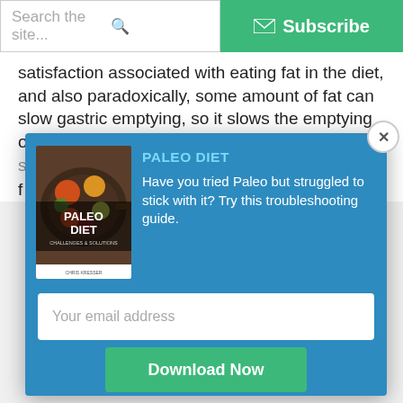Search the site... | Subscribe
satisfaction associated with eating fat in the diet, and also paradoxically, some amount of fat can slow gastric emptying, so it slows the emptying of food out of the st... f...
[Figure (screenshot): Modal popup with Paleo Diet book cover image, title 'PALEO DIET', description text, email input field and Download Now button on blue background]
PALEO DIET
Have you tried Paleo but struggled to stick with it? Try this troubleshooting guide.
Your email address
Download Now